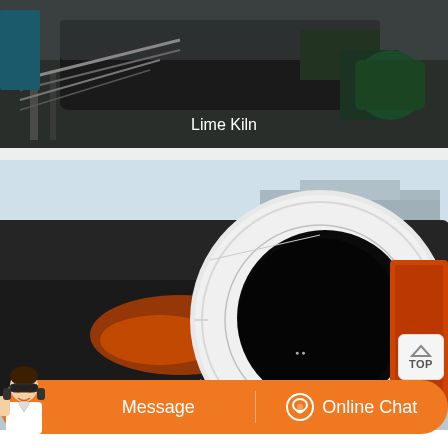[Figure (photo): Industrial Lime Kiln installation showing large cylindrical kiln equipment with support structures and machinery in a factory setting. Label 'Lime Kiln' overlaid in white text.]
[Figure (photo): Close-up of a large Coal Slime Dryer cylindrical drum with white end face showing the hollow interior opening, set against an industrial background with yellow crane equipment visible. Label 'Coal Slime Dryer' overlaid at bottom in white text.]
Message
Online Chat